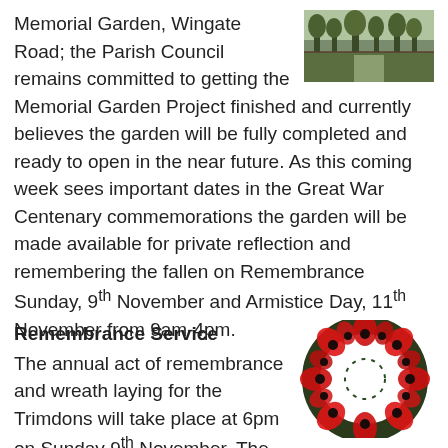Memorial Garden, Wingate Road; the Parish Council remains committed to getting the Memorial Garden Project finished and currently believes the garden will be fully completed and ready to open in the near future. As this coming week sees important dates in the Great War Centenary commemorations the garden will be made available for private reflection and remembering the fallen on Remembrance Sunday, 9th November and Armistice Day, 11th November from 9am-4pm.
[Figure (photo): Photograph of the Memorial Garden at Wingate Road showing trees and garden features]
Remembrance Service
The annual act of remembrance and wreath laying for the Trimdons will take place at 6pm on Sunday 9th November. The service will be accompanied by Trimdon Concert Band and will include the reading of the names of the fallen. The service will take place in St William's Church this year
[Figure (photo): Photograph of a red poppy remembrance wreath]